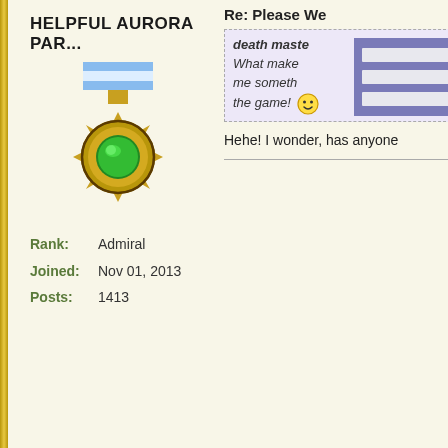HELPFUL AURORA PAR...
[Figure (illustration): Forum badge/medal icon: gold sunburst border with blue/white striped ribbon at top and green gem in center]
Rank: Admiral
Joined: Nov 01, 2013
Posts: 1413
Re: Please We...
death maste... What make... me someth... the game! :)
Hehe! I wonder, has anyone
WILLOWYDREAM
[Figure (illustration): Forum avatar: cartoon female skull character with large purple swirly hair and green eyes]
Rank: Dread Pirate
Joined: May 27, 2009
Posts: 2109
Re: Please Welcome "Bat Mas...
Helpful Aurora Par... on Ju... Hehe! I wonder, has anyone
I have four pirates that have
[Figure (illustration): Small mushroom emoticon/emoji]
I just watched the KI Live vi... impression. I felt a sort of ki...